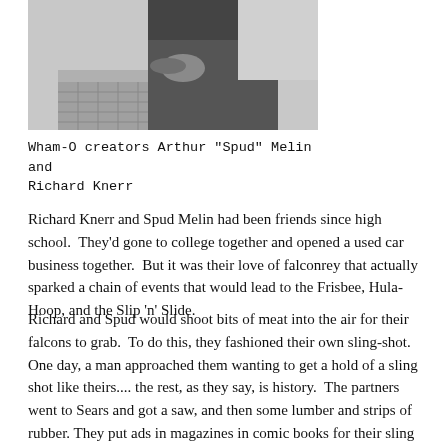[Figure (photo): Black and white photograph showing a person at a desk or table, partial view, with objects on the surface, appears to be an indoor office or workspace setting.]
Wham-O creators Arthur "Spud" Melin and Richard Knerr
Richard Knerr and Spud Melin had been friends since high school.  They'd gone to college together and opened a used car business together.  But it was their love of falconrey that actually sparked a chain of events that would lead to the Frisbee, Hula-Hoop, and the Slip 'n' Slide.
Richard and Spud would shoot bits of meat into the air for their falcons to grab.  To do this, they fashioned their own sling-shot.  One day, a man approached them wanting to get a hold of a sling shot like theirs.... the rest, as they say, is history.  The partners went to Sears and got a saw, and then some lumber and strips of rubber. They put ads in magazines in comic books for their sling shots, and earned enough capital to make more items.